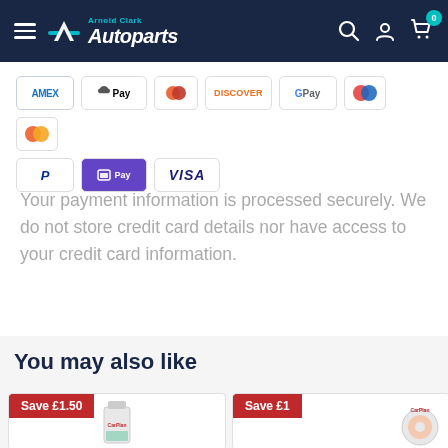Arnold Clark Autoparts
[Figure (other): Payment method icons: AMEX, Apple Pay, Diners Club, Discover, Google Pay, Maestro, Mastercard, PayPal, OPay, Visa]
Your payment information is processed securely. We do not store credit card details nor have access to your credit card information.
You may also like
[Figure (photo): Product card with Save £1.50 badge and product image (Carplan item)]
[Figure (photo): Product card with Save £1 badge and product image (Carplan Donut item)]